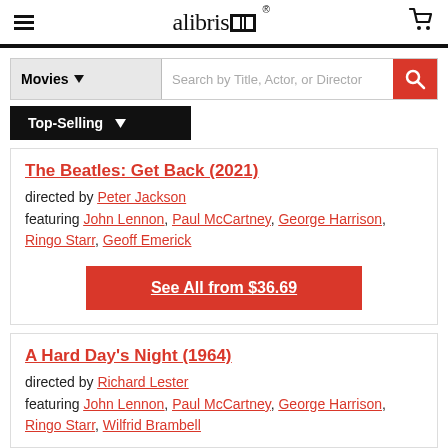alibris — Movies search page header
Movies — Search by Title, Actor, or Director
Top-Selling
The Beatles: Get Back (2021)
directed by Peter Jackson
featuring John Lennon, Paul McCartney, George Harrison, Ringo Starr, Geoff Emerick
See All from $36.69
A Hard Day's Night (1964)
directed by Richard Lester
featuring John Lennon, Paul McCartney, George Harrison, Ringo Starr, Wilfrid Brambell